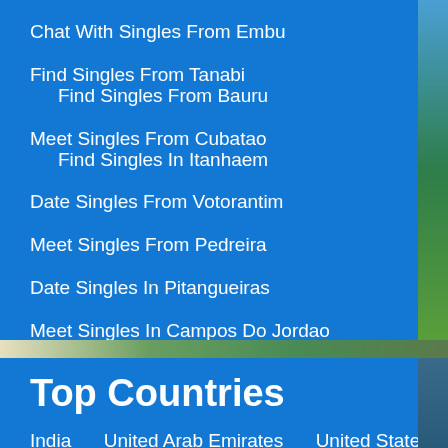Chat With Singles From Embu
Find Singles From Tanabi
Find Singles From Bauru
Meet Singles From Cubatao
Find Singles In Itanhaem
Date Singles From Votorantim
Meet Singles From Pedreira
Date Singles In Pitangueiras
Meet Singles In Campos Do Jordao
Top Countries
India
United Arab Emirates
United States